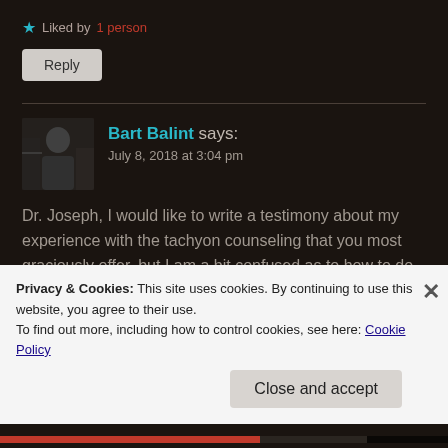★ Liked by 1 person
Reply
Bart Balint says:
July 8, 2018 at 3:04 pm
Dr. Joseph, I would like to write a testimony about my experience with the tachyon counseling that you most graciously offer, but I am a bit confused as to how to do this. Under the testimonial tab above, I don't see an
Privacy & Cookies: This site uses cookies. By continuing to use this website, you agree to their use.
To find out more, including how to control cookies, see here: Cookie Policy
Close and accept